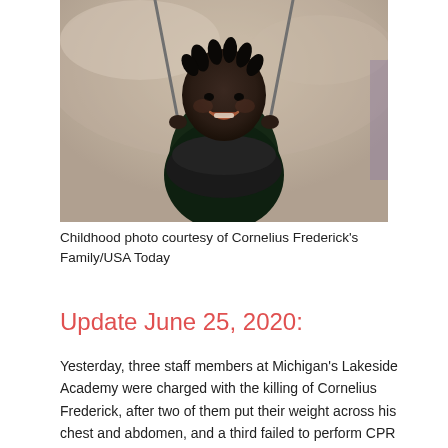[Figure (photo): Childhood photo of a young child smiling while sitting in a black bucket swing, holding the chain links on each side. Sandy background visible. Photo appears warm-toned/vintage.]
Childhood photo courtesy of Cornelius Frederick's Family/USA Today
Update June 25, 2020:
Yesterday, three staff members at Michigan's Lakeside Academy were charged with the killing of Cornelius Frederick, after two of them put their weight across his chest and abdomen, and a third failed to perform CPR and waited for another 12-minutes to call for medical